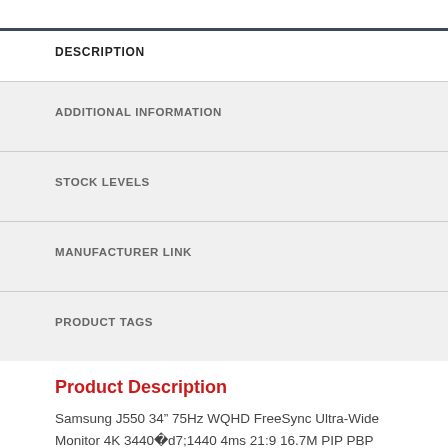DESCRIPTION
ADDITIONAL INFORMATION
STOCK LEVELS
MANUFACTURER LINK
PRODUCT TAGS
Product Description
Samsung J550 34” 75Hz WQHD FreeSync Ultra-Wide Monitor 4K 3440×1440 4ms 21:9 16.7M PIP PBP Tilt VESA DP 2xHDMI Slim Bezel Game Mode Eye Save Mode
All-around Performer The ultra-wide WQHD monitor